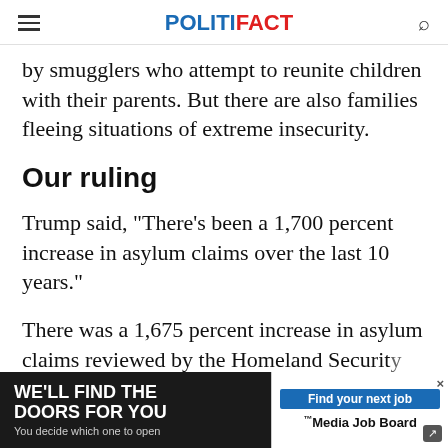POLITIFACT
by smugglers who attempt to reunite children with their parents. But there are also families fleeing situations of extreme insecurity.
Our ruling
Trump said, "There's been a 1,700 percent increase in asylum claims over the last 10 years."
There was a 1,675 percent increase in asylum claims reviewed by the Homeland Security Department...